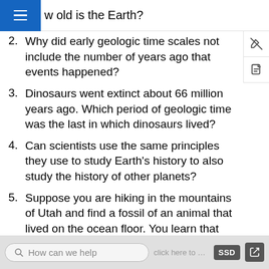How old is the Earth?
2. Why did early geologic time scales not include the number of years ago that events happened?
3. Dinosaurs went extinct about 66 million years ago. Which period of geologic time was the last in which dinosaurs lived?
4. Can scientists use the same principles they use to study Earth’s history to also study the history of other planets?
5. Suppose you are hiking in the mountains of Utah and find a fossil of an animal that lived on the ocean floor. You learn that the rock that holds the fossil is from the Mississippian period. What was the environment like during the Mississippian in Utah?
How can we help